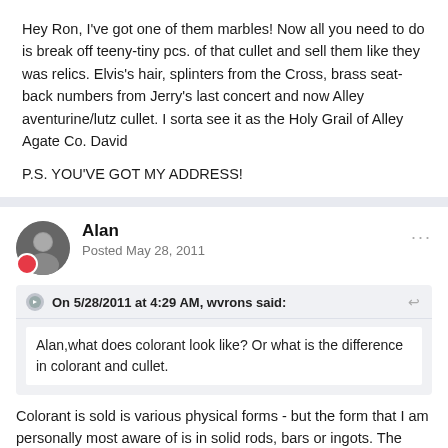Hey Ron, I've got one of them marbles! Now all you need to do is break off teeny-tiny pcs. of that cullet and sell them like they was relics. Elvis's hair, splinters from the Cross, brass seat-back numbers from Jerry's last concert and now Alley aventurine/lutz cullet. I sorta see it as the Holy Grail of Alley Agate Co. David
P.S. YOU'VE GOT MY ADDRESS!
Alan
Posted May 28, 2011
On 5/28/2011 at 4:29 AM, wvrons said:
Alan,what does colorant look like? Or what is the difference in colorant and cullet.
Colorant is sold is various physical forms - but the form that I am personally most aware of is in solid rods, bars or ingots. The